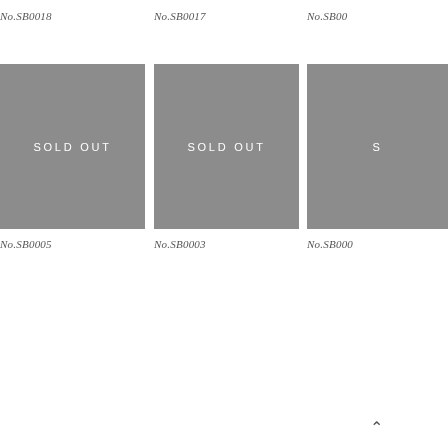No.SB0018
No.SB0017
No.SB00...
[Figure (other): Gray square with SOLD OUT text overlay - No.SB0018]
[Figure (other): Gray square with SOLD OUT text overlay - No.SB0017]
[Figure (other): Gray square with SOLD OUT text overlay - No.SB00...]
No.SB0005
No.SB0003
No.SB000...